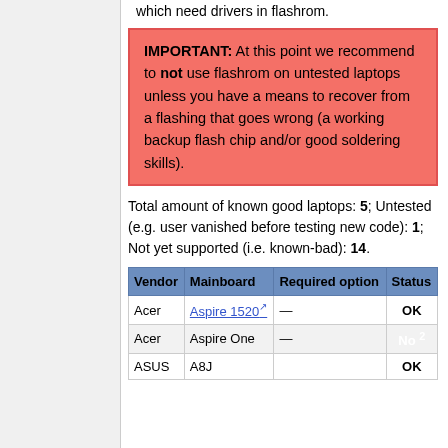often use flash translation circuits which need drivers in flashrom.
IMPORTANT: At this point we recommend to not use flashrom on untested laptops unless you have a means to recover from a flashing that goes wrong (a working backup flash chip and/or good soldering skills).
Total amount of known good laptops: 5; Untested (e.g. user vanished before testing new code): 1; Not yet supported (i.e. known-bad): 14.
| Vendor | Mainboard | Required option | Status |
| --- | --- | --- | --- |
| Acer | Aspire 1520 | — | OK |
| Acer | Aspire One | — | No |
| ASUS | A8J |  | OK |